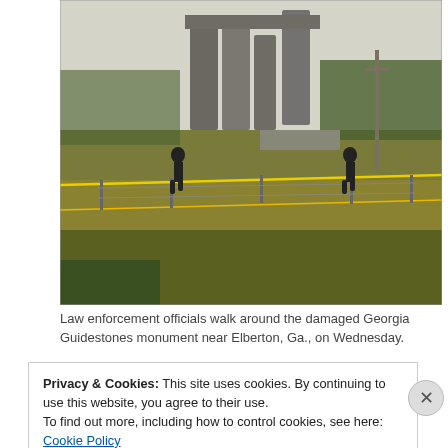[Figure (photo): Law enforcement officials walking around the damaged Georgia Guidestones monument in a field near Elberton, Georgia. Yellow crime scene tape is visible, and large stone monolith pillars are in the background.]
Law enforcement officials walk around the damaged Georgia Guidestones monument near Elberton, Ga., on Wednesday.
Privacy & Cookies: This site uses cookies. By continuing to use this website, you agree to their use.
To find out more, including how to control cookies, see here: Cookie Policy